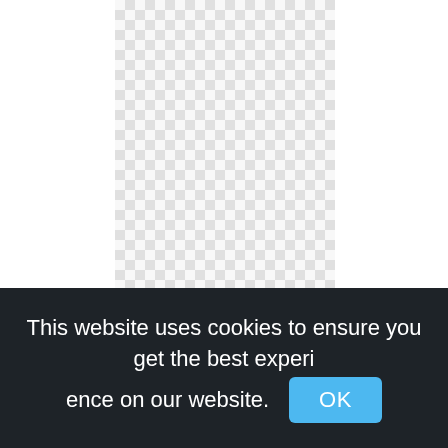[Figure (illustration): Transparent/empty image area shown as a checkerboard pattern (white and light grey squares), representing a transparent PNG logo file.]
Logo Logo Light, Graphic Design,designer png
This website uses cookies to ensure you get the best experience on our website.
OK